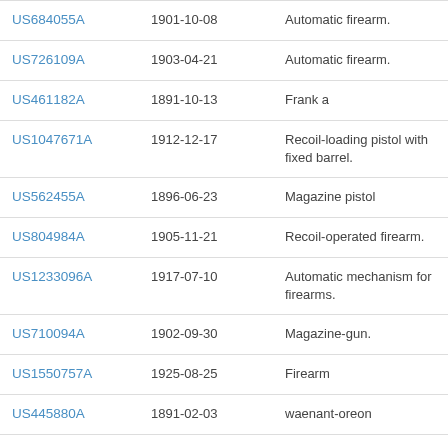| US684055A | 1901-10-08 | Automatic firearm. |
| US726109A | 1903-04-21 | Automatic firearm. |
| US461182A | 1891-10-13 | Frank a |
| US1047671A | 1912-12-17 | Recoil-loading pistol with fixed barrel. |
| US562455A | 1896-06-23 | Magazine pistol |
| US804984A | 1905-11-21 | Recoil-operated firearm. |
| US1233096A | 1917-07-10 | Automatic mechanism for firearms. |
| US710094A | 1902-09-30 | Magazine-gun. |
| US1550757A | 1925-08-25 | Firearm |
| US445880A | 1891-02-03 | waenant-oreon |
| US458824A | 1891-09-01 | daudeteau |
| US566267A | 1906-08-25 | Magazine-pistol |